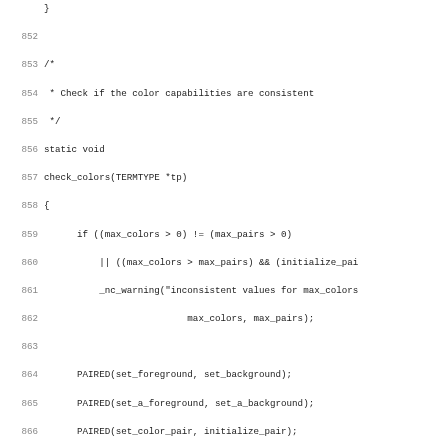Source code listing, lines 851-883, C code for check_colors function